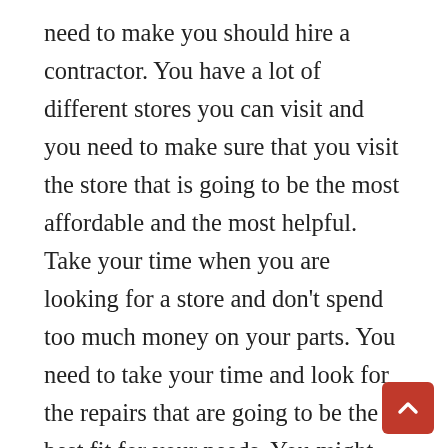need to make you should hire a contractor. You have a lot of different stores you can visit and you need to make sure that you visit the store that is going to be the most affordable and the most helpful. Take your time when you are looking for a store and don't spend too much money on your parts. You need to take your time and look for the repairs that are going to be the best fit for your needs. You might want to visit a few different stores so you end up finding the store that is going to be the best deal. You need to take your time and look at the different stores that are going to be the best fit for you. When you find the right store you can take your time and look for the parts that are going to make your project a success. You can often find instructions online that will show you how to m the repairs you need to make. You should always look